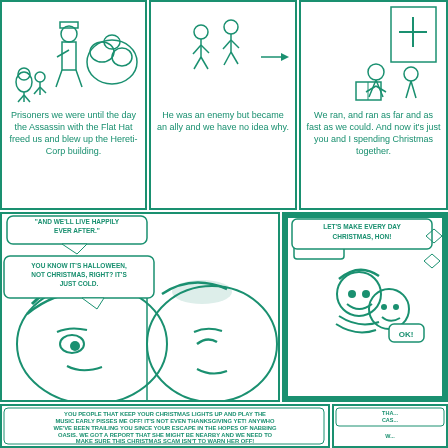[Figure (illustration): Comic page with multiple panels in green and white ink. Top row: three panels showing characters with narrative text. Middle row: large panel with two characters lying down with speech bubbles about Halloween/Christmas, and a panel showing characters hugging. Bottom row: wide panel with speech bubble text about Christmas lights and trailing someone, and partial panel with casserole neighbor.]
Prisoners we were until the day the Assassin with the Flat Hat freed us and blew up the Hereti-Corp building.
He was an enemy but became an ally and we have no idea why.
We ran, and ran as far and as fast as we could. And now it's just you and I spending Christmas together.
"AND WE'LL LIVE HAPPILY EVER AFTER."
YOU KNOW IT'S HALLOWEEN, NOT CHRISTMAS, RIGHT? IT'S JUST COLD.
LET'S MAKE EVERY DAY CHRISTMAS, HON!
OK!
YOU PEOPLE THAT KEEP YOUR CHRISTMAS LIGHTS UP AND PLAY THE MUSIC EARLY PISSES ME OFF! IT'S NOT EVEN THANKSGIVING YET! ANYWHO WE'VE BEEN TRAILING YOU SINCE YOUR ESCAPE IN THE HOPES OF NABBING OASIS. WE GOT A REPORT THAT SHE MIGHT BE NEARBY AND WE NEED TO MAKE SURE THIS CHRISTMAS SCAM ISN'T TO WARN HER OFF!
HI, I'M THE NEIGHBOR ACROSS THE HALL! I MADE YOU A "WELCOME TO THE SLUM" CASSEROLE!
GOOD TIMING! THIS FRIDGE IS EMPTY!